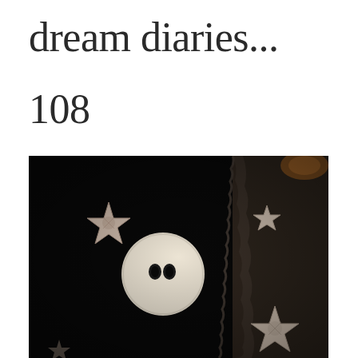dream diaries...
108
[Figure (photo): Dark/black background photo showing a white button resembling a moon, two star-shaped ornaments on the left, and a textured dark fabric edge with star ornaments on the right side.]